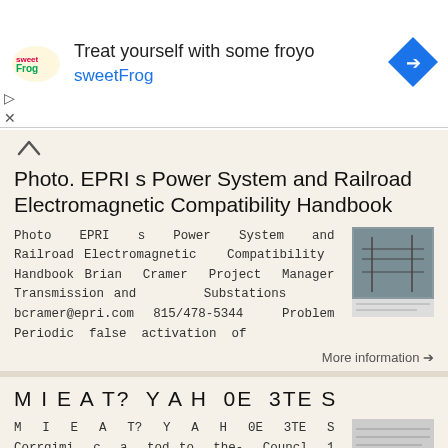[Figure (screenshot): Advertisement banner for sweetFrog frozen yogurt with logo, text 'Treat yourself with some froyo sweetFrog', and navigation icon]
Photo. EPRI s Power System and Railroad Electromagnetic Compatibility Handbook
Photo EPRI s Power System and Railroad Electromagnetic Compatibility Handbook Brian Cramer Project Manager Transmission and Substations bcramer@epri.com 815/478-5344 Problem Periodic false activation of
More information →
M I E A T? Y A H 0E 3TE S
M I E A T? Y A H 0E 3TE S Corrgimi c a tod to the- Councl 1 and 1,'ombors ox the League 3/36456712247 p 9 AP t * no 1 Q A L» * O i-» m i. i O |L/» X T T i ttt.' n *7 T-T *